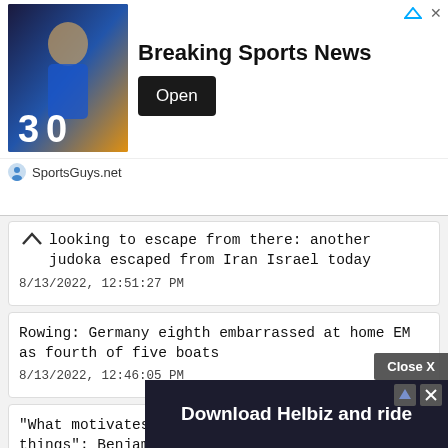[Figure (screenshot): Breaking Sports News advertisement banner featuring a basketball player in a Golden State Warriors jersey #30, with an Open button and SportsGuys.net source label]
...looking to escape from there: another judoka escaped from Iran Israel today
8/13/2022, 12:51:27 PM
Rowing: Germany eighth embarrassed at home EM as fourth of five boats
8/13/2022, 12:46:05 PM
"What motivates him is to do extraordinary things": Benjamin Thomas, an all-terrain runner
8/13/2...
[Figure (screenshot): Download Helbiz and ride advertisement overlay at bottom of page with Close X button]